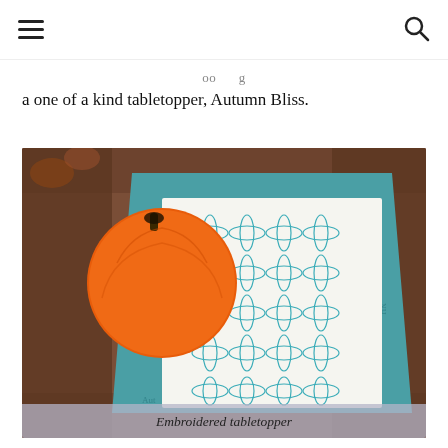a one of a kind tabletopper, Autumn Bliss.
[Figure (photo): Overhead photo of a white embroidered tabletopper with teal floral border fabric, showing a grid of interlocking oval/petal quilt embroidery pattern in teal thread. An orange pumpkin prop sits in the upper left. The tabletopper is displayed on a brown patterned fabric background.]
Embroidered tabletopper